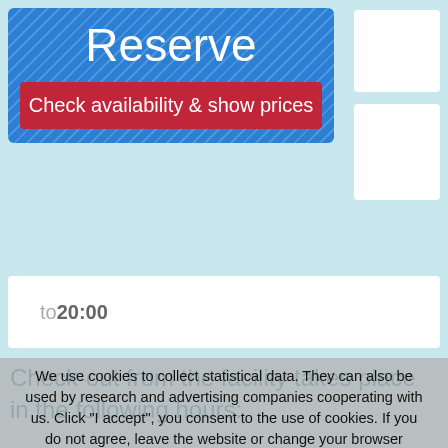[Figure (screenshot): Blue diagonal-striped Reserve box with red 'Check availability & show prices' button]
to 20:00
Check-out from the facility takes place in the following hours:
to 11:00
We use cookies to collect statistical data. They can also be used by research and advertising companies cooperating with us. Click "I accept", you consent to the use of cookies. If you do not agree, leave the website or change your browser settings.
I accept
Kitchen with equipment at your disposal:
Dining table